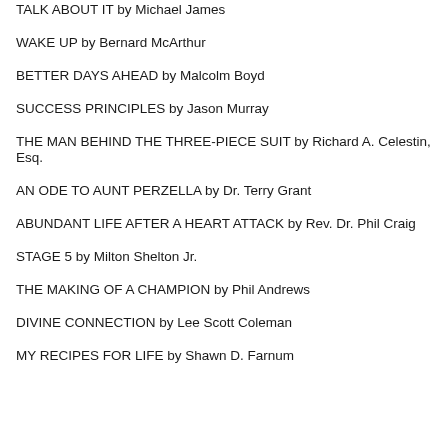TALK ABOUT IT by Michael James
WAKE UP by Bernard McArthur
BETTER DAYS AHEAD by Malcolm Boyd
SUCCESS PRINCIPLES by Jason Murray
THE MAN BEHIND THE THREE-PIECE SUIT by Richard A. Celestin, Esq.
AN ODE TO AUNT PERZELLA by Dr. Terry Grant
ABUNDANT LIFE AFTER A HEART ATTACK by Rev. Dr. Phil Craig
STAGE 5 by Milton Shelton Jr.
THE MAKING OF A CHAMPION by Phil Andrews
DIVINE CONNECTION by Lee Scott Coleman
MY RECIPES FOR LIFE by Shawn D. Farnum